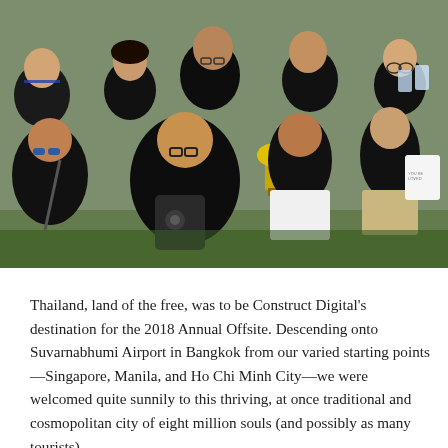[Figure (photo): Group photo of approximately 12 people wearing matching black t-shirts, posing outdoors. One person in the center holds a trophy. The group appears to be from Construct Digital at their 2018 Annual Offsite.]
Thailand, land of the free, was to be Construct Digital's destination for the 2018 Annual Offsite. Descending onto Suvarnabhumi Airport in Bangkok from our varied starting points—Singapore, Manila, and Ho Chi Minh City—we were welcomed quite sunnily to this thriving, at once traditional and cosmopolitan city of eight million souls (and possibly as many tourists).
It was a portent of good things to come, as what is often expected of a Construct Digital Offsite. Our three-pronged aim: to review the highs and lows of the year that was; set